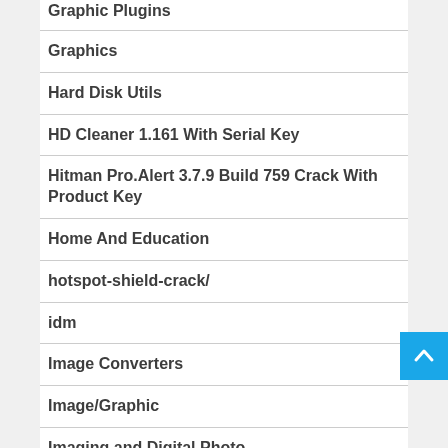Graphic Plugins
Graphics
Hard Disk Utils
HD Cleaner 1.161 With Serial Key
Hitman Pro.Alert 3.7.9 Build 759 Crack With Product Key
Home And Education
hotspot-shield-crack/
idm
Image Converters
Image/Graphic
Imaging and Digital Photo
Instant Messaging